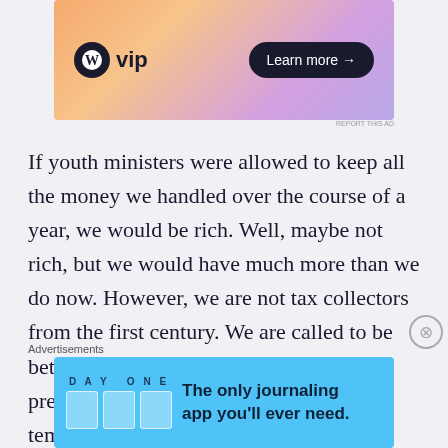[Figure (screenshot): WordPress VIP advertisement banner with orange-purple gradient background, WP logo, 'vip' text, and 'Learn more →' button]
If youth ministers were allowed to keep all the money we handled over the course of a year, we would be rich. Well, maybe not rich, but we would have much more than we do now. However, we are not tax collectors from the first century. We are called to be better than that, so we need to take all the precautions we can to not fall into temptation. At the same time, parents are
[Figure (screenshot): Day One journaling app advertisement with blue background. Shows 'DAY ONE' text, app icons, and tagline 'The only journaling app you'll ever need.']